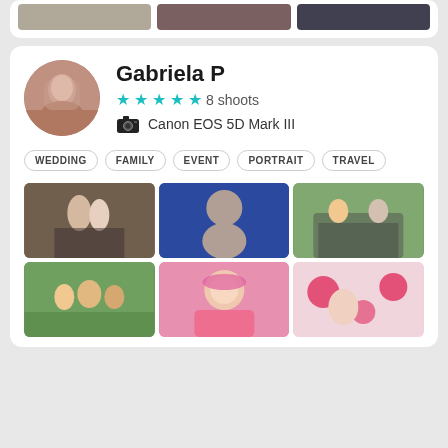[Figure (photo): Three partial photo thumbnails at top of page showing wedding/portrait shots]
Gabriela P
★★★★★ 8 shoots
Canon EOS 5D Mark III
WEDDING
FAMILY
EVENT
PORTRAIT
TRAVEL
[Figure (photo): Wedding couple embracing outdoors]
[Figure (photo): Baby sitting on floor with cake smash]
[Figure (photo): Two boys sitting on a park bench]
[Figure (photo): Large family group outdoors]
[Figure (photo): Baby girl with flower crown in pink dress]
[Figure (photo): Baby with pink balloon decorations]